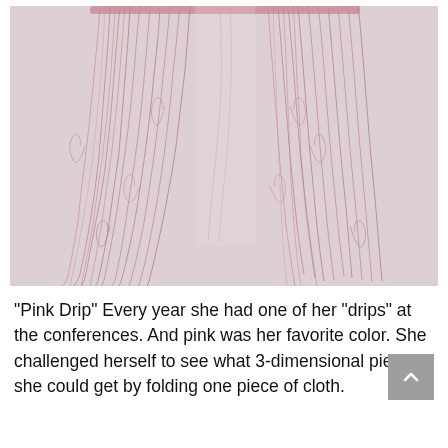[Figure (photo): A close-up photograph of pink metallic/sparkly fringe yarn or thread hanging down, resembling drips or strands against a light grey-white background. The yarn is curly and textured, arranged in two main clusters.]
“Pink Drip” Every year she had one of her “drips” at the conferences. And pink was her favorite color. She challenged herself to see what 3-dimensional pieces she could get by folding one piece of cloth.